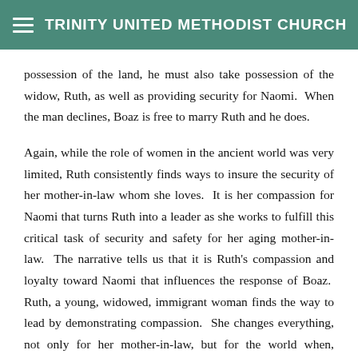TRINITY UNITED METHODIST CHURCH
possession of the land, he must also take possession of the widow, Ruth, as well as providing security for Naomi.  When the man declines, Boaz is free to marry Ruth and he does.
Again, while the role of women in the ancient world was very limited, Ruth consistently finds ways to insure the security of her mother-in-law whom she loves.  It is her compassion for Naomi that turns Ruth into a leader as she works to fulfill this critical task of security and safety for her aging mother-in-law.  The narrative tells us that it is Ruth's compassion and loyalty toward Naomi that influences the response of Boaz.  Ruth, a young, widowed, immigrant woman finds the way to lead by demonstrating compassion.  She changes everything, not only for her mother-in-law, but for the world when, centuries later, her descendent, Joseph, becomes the earthly father of our Lord and Savior, Jesus...